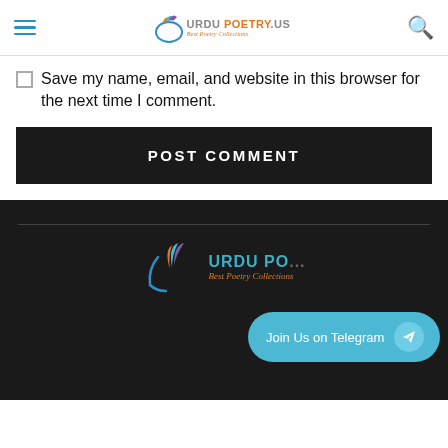URDU POETRY.US — Best Poetry Collections
Save my name, email, and website in this browser for the next time I comment.
POST COMMENT
[Figure (logo): Urdu Poetry.US logo with bird feather illustration and tagline 'Best Poetry Collections' on dark footer background]
Join Us on Telegram